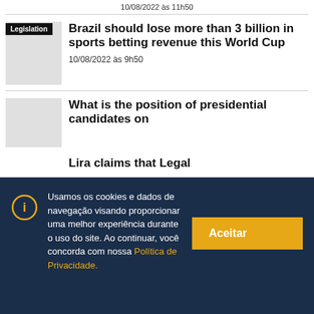10/08/2022 às 11h50
Brazil should lose more than 3 billion in sports betting revenue this World Cup
10/08/2022 às 9h50
What is the position of presidential candidates on
Usamos os cookies e dados de navegação visando proporcionar uma melhor experiência durante o uso do site. Ao continuar, você concorda com nossa Política de Privacidade.
Lira claims that Legal